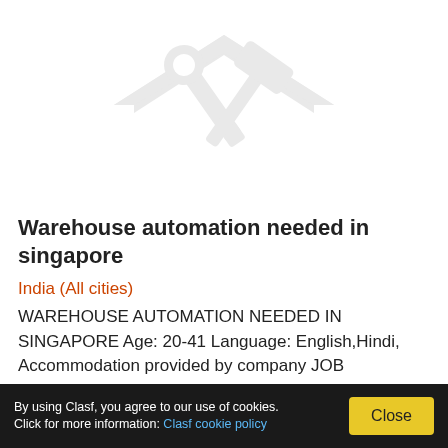[Figure (illustration): Gray silhouette icon of tools (hammer and wrench) crossed over a house outline]
Warehouse automation needed in singapore
India (All cities)
WAREHOUSE AUTOMATION NEEDED IN SINGAPORE Age: 20-41 Language: English,Hindi, Accommodation provided by company JOB DESCRIPTION Assist the warehouse system operator in performing routine system maintenance task such as ensuring robotic arms are
See product
By using Clasf, you agree to our use of cookies. Click for more information: Clasf cookie policy